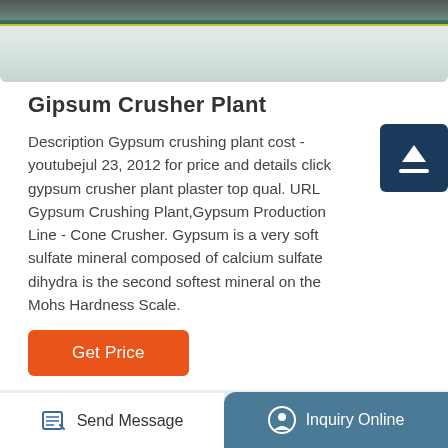[Figure (photo): Top partial image of an industrial facility interior with green-painted flooring and a yellow stripe, machinery visible at top]
Gipsum Crusher Plant
Description Gypsum crushing plant cost - youtubejul 23, 2012 for price and details click gypsum crusher plant plaster top qual. URL Gypsum Crushing Plant,Gypsum Production Line - Cone Crusher. Gypsum is a very soft sulfate mineral composed of calcium sulfate dihydra is the second softest mineral on the Mohs Hardness Scale.
[Figure (other): Scroll-to-top button with upward arrow icon, dark navy background]
Get Price
[Figure (photo): Bottom partial photo of an industrial building interior with steel roof structure]
Send Message   Inquiry Online